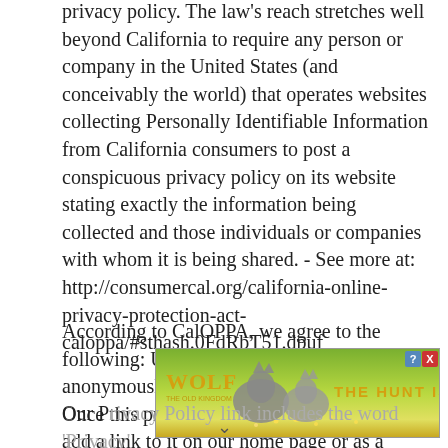privacy policy. The law's reach stretches well beyond California to require any person or company in the United States (and conceivably the world) that operates websites collecting Personally Identifiable Information from California consumers to post a conspicuous privacy policy on its website stating exactly the information being collected and those individuals or companies with whom it is being shared. - See more at: http://consumercal.org/california-online-privacy-protection-act-caloppa/#sthash.0FdRbT51.dpuf
According to CalOPPA, we agree to the following: Users can visit our site anonymously. Once this privacy policy is created, we will add a link to it on our home page or as a minimum, on the first significant page after entering our website.
[Figure (other): Advertisement banner: Wolf game ad with wolves in a meadow, text 'WOLF THE OLD KINGDOM' and 'THE HUNT IS ON!' with a blue help icon and red close button.]
Our P[rivacy Policy link includes the word 'Privacy'] and d[oes this word exist on the web page specified above.] ove.
You will be notified of any Privacy Policy changes: